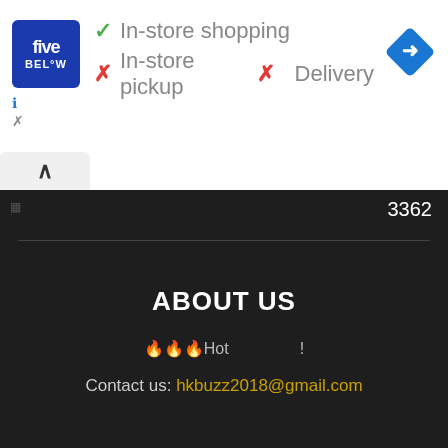[Figure (logo): Five Below store logo - blue square with 'five BEL°W' text in white]
✓ In-store shopping
✗ In-store pickup  ✗ Delivery
[Figure (other): Blue diamond navigation/directions icon with right-turn arrow]
3362
ABOUT US
🔥🔥🔥Hot !
Contact us: hkbuzz2018@gmail.com